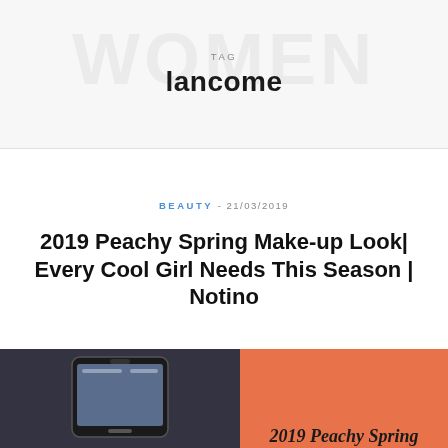TAG
lancome
BEAUTY - 21/03/2019
2019 Peachy Spring Make-up Look| Every Cool Girl Needs This Season | Notino
[Figure (photo): Photo of a smartphone on the left side with a blurred background, next to a peach/coral colored panel on the right with italic text reading '2019 Peachy Spring']